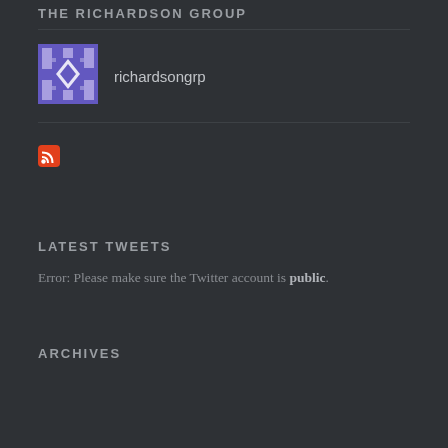THE RICHARDSON GROUP
[Figure (logo): Purple and white geometric pattern avatar for richardsongrp]
richardsongrp
[Figure (other): RSS feed icon - orange square with white wifi signal]
LATEST TWEETS
Error: Please make sure the Twitter account is public.
ARCHIVES